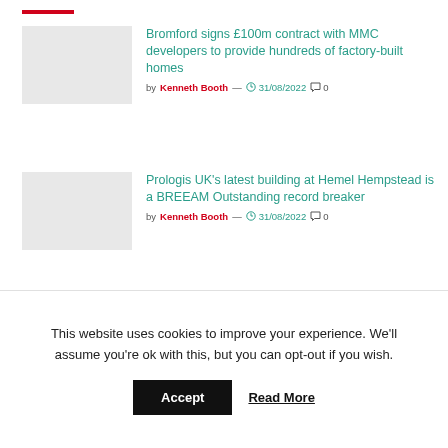Bromford signs £100m contract with MMC developers to provide hundreds of factory-built homes — by Kenneth Booth — 31/08/2022 — 0 comments
Prologis UK's latest building at Hemel Hempstead is a BREEAM Outstanding record breaker — by Kenneth Booth — 31/08/2022 — 0 comments
G F Tomlinson Completes Work on Lichfield Primary School — by Cristina Diaconu — 31/08/2022 — 0 comments
This website uses cookies to improve your experience. We'll assume you're ok with this, but you can opt-out if you wish.